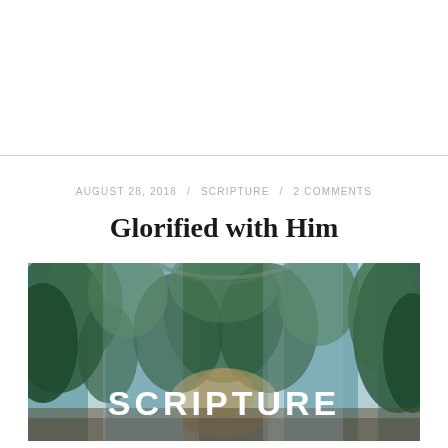AUGUST 28, 2018 / SCRIPTURE / 2 COMMENTS
Glorified with Him
[Figure (photo): Greenhouse interior with tropical plants and foliage, with the word SCRIPTURE overlaid in large white bold text at the bottom center.]